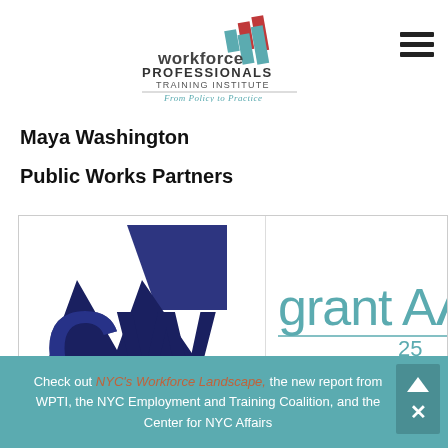[Figure (logo): Workforce Professionals Training Institute logo with stacked bar chart icon in teal and red, text 'workforce PROFESSIONALS TRAINING INSTITUTE' and tagline 'From Policy to Practice']
Maya Washington
Public Works Partners
[Figure (logo): Two partner organization logos side by side: left shows 'CW' logo in dark blue, right shows partial 'grant Associ...' text with '25' visible in teal]
Check out NYC's Workforce Landscape, the new report from WPTI, the NYC Employment and Training Coalition, and the Center for NYC Affairs